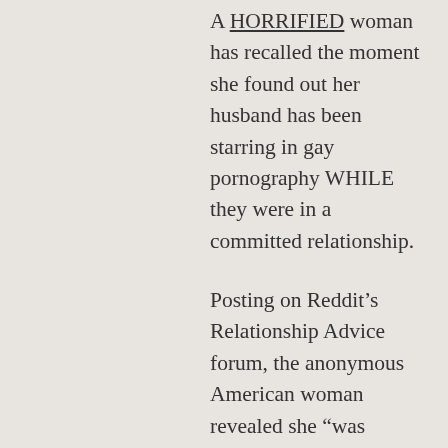A HORRIFIED woman has recalled the moment she found out her husband has been starring in gay pornography WHILE they were in a committed relationship.
Posting on Reddit's Relationship Advice forum, the anonymous American woman revealed she “was watching gay porn while my husband slept” only to “click on a random video” and discover her partner was the star.
Revealing how she had zero doubt in her mind as to whether the pornstar was the man she married, the woman wrote: “His face was fully visible and he has several unique tattoos.”